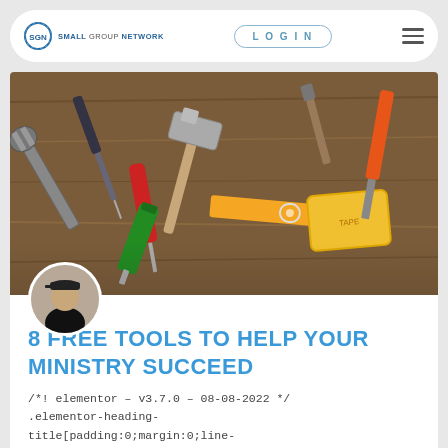SGN SMALL GROUP NETWORK | LOGIN
[Figure (photo): Overhead view of various tools on a wooden surface including hammers, pliers, screwdrivers, a tape measure, and other hand tools]
[Figure (photo): Circular author avatar showing a person wearing a dark cap and dark clothing]
8 FREE TOOLS TO HELP YOUR MINISTRY SUCCEED
/*! elementor – v3.7.0 – 08-08-2022 */ .elementor-heading-title[padding:0;margin:0;line-height:1].elementor-widget-heading .elementor-heading-title[class*=elementor-